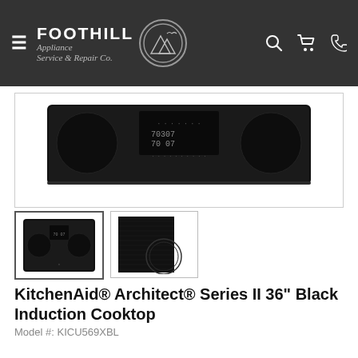FOOTHILL Appliance Service & Repair Co.
[Figure (photo): KitchenAid black induction cooktop, main product photo, top-down view showing control panel with digital display]
[Figure (photo): Thumbnail 1: KitchenAid black induction cooktop, full unit view]
[Figure (photo): Thumbnail 2: Close-up of black induction cooktop surface showing burner ring]
KitchenAid® Architect® Series II 36" Black Induction Cooktop
Model #: KICU569XBL